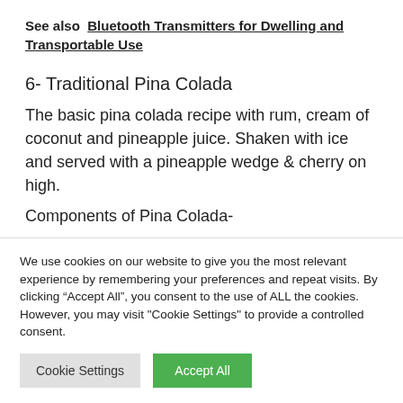See also  Bluetooth Transmitters for Dwelling and Transportable Use
6- Traditional Pina Colada
The basic pina colada recipe with rum, cream of coconut and pineapple juice. Shaken with ice and served with a pineapple wedge & cherry on high.
Components of Pina Colada-
We use cookies on our website to give you the most relevant experience by remembering your preferences and repeat visits. By clicking “Accept All”, you consent to the use of ALL the cookies. However, you may visit "Cookie Settings" to provide a controlled consent.